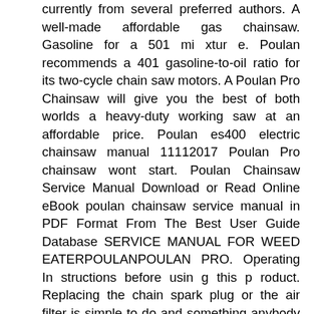currently from several preferred authors. A well-made affordable gas chainsaw. Gasoline for a 501 mi xtur e. Poulan recommends a 401 gasoline-to-oil ratio for its two-cycle chain saw motors. A Poulan Pro Chainsaw will give you the best of both worlds a heavy-duty working saw at an affordable price. Poulan es400 electric chainsaw manual 11112017 Poulan Pro chainsaw wont start. Poulan Chainsaw Service Manual Download or Read Online eBook poulan chainsaw service manual in PDF Format From The Best User Guide Database SERVICE MANUAL FOR WEED EATERPOULANPOULAN PRO. Operating In structions before usin g this p roduct. Replacing the chain spark plug or the air filter is simple to do and something anybody can do. Servicing the Poulan Pro 5020 chainsaw is relatively easy and straightforward. Search Poulan Pro owners manuals illustrated parts lists and more. While these chain saws come with a one-year warranty to ensure